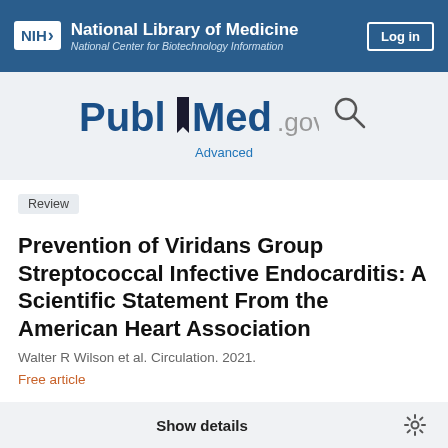NIH National Library of Medicine National Center for Biotechnology Information
[Figure (logo): PubMed.gov logo with search icon and Advanced link]
Review
Prevention of Viridans Group Streptococcal Infective Endocarditis: A Scientific Statement From the American Heart Association
Walter R Wilson et al. Circulation. 2021.
Free article
Show details